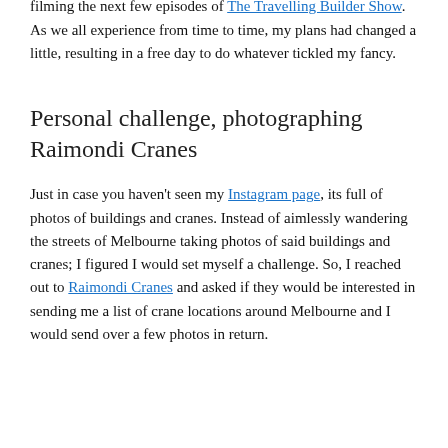in Melbourne, Australia for a few weeks, travelling around filming the next few episodes of The Travelling Builder Show. As we all experience from time to time, my plans had changed a little, resulting in a free day to do whatever tickled my fancy.
Personal challenge, photographing Raimondi Cranes
Just in case you haven't seen my Instagram page, its full of photos of buildings and cranes. Instead of aimlessly wandering the streets of Melbourne taking photos of said buildings and cranes; I figured I would set myself a challenge. So, I reached out to Raimondi Cranes and asked if they would be interested in sending me a list of crane locations around Melbourne and I would send over a few photos in return.